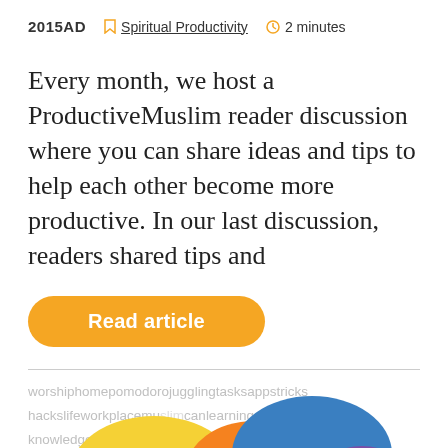2015AD  Spiritual Productivity  2 minutes
Every month, we host a ProductiveMuslim reader discussion where you can share ideas and tips to help each other become more productive. In our last discussion, readers shared tips and
Read article
[Figure (illustration): Word cloud with tags like worship, home, pomodoro, juggling tasks, apps, tricks, hacks, life, workplace, learning, knowledge, lazy, dua, productivity, habits, discussion, thankful, shukr, planning, writing, taqwa, iman, parents, children, e-mail, holidays, overlaid with colorful speech bubble illustrations in yellow, magenta/pink, orange, blue, purple, green, and brown]